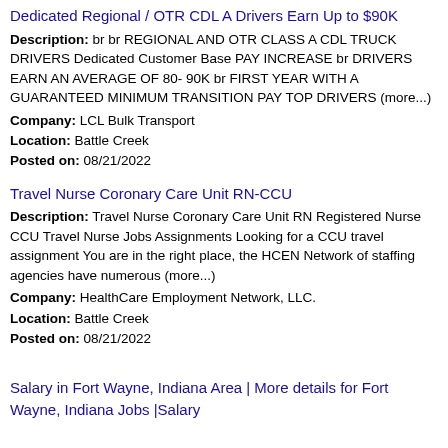Dedicated Regional / OTR CDL A Drivers Earn Up to $90K
Description: br br REGIONAL AND OTR CLASS A CDL TRUCK DRIVERS Dedicated Customer Base PAY INCREASE br DRIVERS EARN AN AVERAGE OF 80- 90K br FIRST YEAR WITH A GUARANTEED MINIMUM TRANSITION PAY TOP DRIVERS (more...)
Company: LCL Bulk Transport
Location: Battle Creek
Posted on: 08/21/2022
Travel Nurse Coronary Care Unit RN-CCU
Description: Travel Nurse Coronary Care Unit RN Registered Nurse CCU Travel Nurse Jobs Assignments Looking for a CCU travel assignment You are in the right place, the HCEN Network of staffing agencies have numerous (more...)
Company: HealthCare Employment Network, LLC.
Location: Battle Creek
Posted on: 08/21/2022
Salary in Fort Wayne, Indiana Area | More details for Fort Wayne, Indiana Jobs |Salary